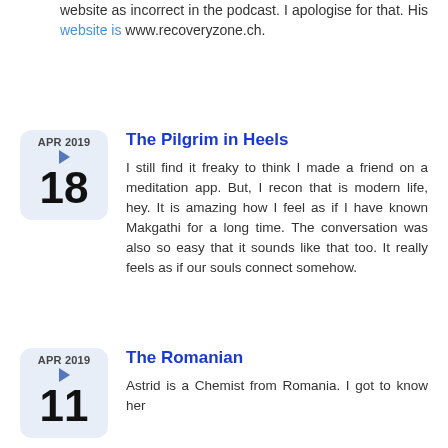website as incorrect in the podcast. I apologise for that. His website is www.recoveryzone.ch.
The Pilgrim in Heels
I still find it freaky to think I made a friend on a meditation app. But, I recon that is modern life, hey. It is amazing how I feel as if I have known Makgathi for a long time. The conversation was also so easy that it sounds like that too. It really feels as if our souls connect somehow.
The Romanian
Astrid is a Chemist from Romania. I got to know her